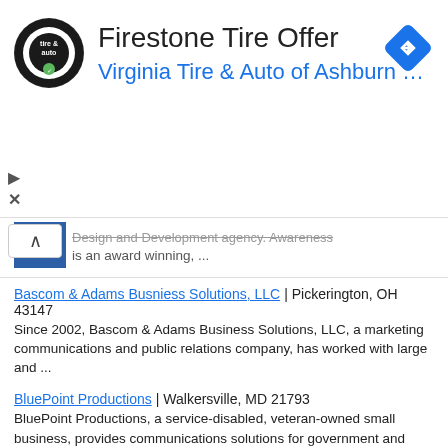[Figure (other): Advertisement banner for Firestone Tire Offer by Virginia Tire & Auto of Ashburn, with circular logo on left and navigation arrow icon on right]
Design and Development agency. Awareness is an award winning, ...
Bascom & Adams Busniess Solutions, LLC | Pickerington, OH 43147
Since 2002, Bascom & Adams Business Solutions, LLC, a marketing communications and public relations company, has worked with large and ...
BluePoint Productions | Walkersville, MD 21793
BluePoint Productions, a service-disabled, veteran-owned small business, provides communications solutions for government and commercial ...
Chapeau Graphic Design & Consulting | Sacramento, CA 95834
Chapeau Graphic Design & Consulting: Highly skilled, creative and multi-talented professional graphic designer with more than twenty years ...
Define Standard Communications | Winston-Salem, NC 27103
Define Standard Communications, LLC increases